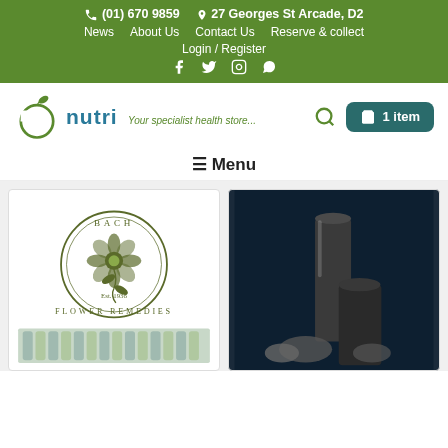(01) 670 9859 | 27 Georges St Arcade, D2 | News | About Us | Contact Us | Reserve & collect | Login / Register
[Figure (logo): Nutri health store logo with apple icon and tagline 'Your specialist health store...']
1 item (cart button)
≡ Menu
[Figure (photo): Bach Flower Remedies logo with flower illustration and small vials below]
[Figure (photo): Dark background with cylindrical objects, appears to be candles or supplements]